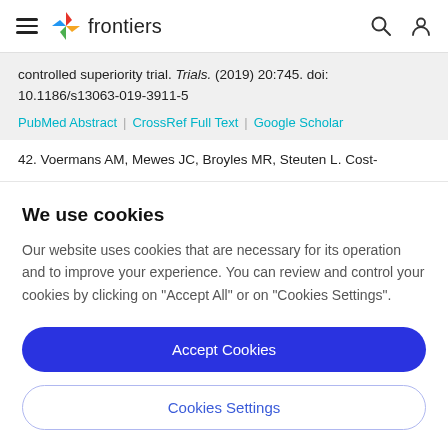frontiers
controlled superiority trial. Trials. (2019) 20:745. doi: 10.1186/s13063-019-3911-5
PubMed Abstract | CrossRef Full Text | Google Scholar
42. Voermans AM, Mewes JC, Broyles MR, Steuten L. Cost-
We use cookies
Our website uses cookies that are necessary for its operation and to improve your experience. You can review and control your cookies by clicking on "Accept All" or on "Cookies Settings".
Accept Cookies
Cookies Settings